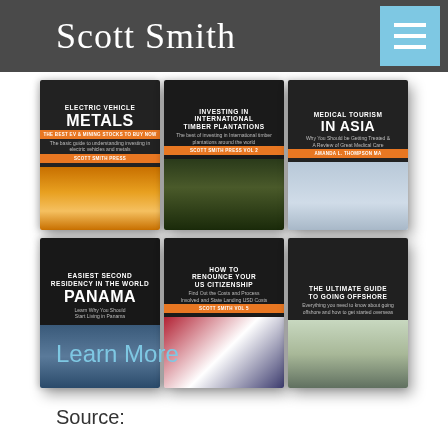Scott Smith
[Figure (illustration): Grid of 6 book covers by Scott Smith: Electric Vehicle Metals, Investing in International Timber Plantations, Medical Tourism in Asia, Easiest Second Residency in the World Panama, How to Renounce Your US Citizenship, The Ultimate Guide to Going Offshore]
Learn More
Source: